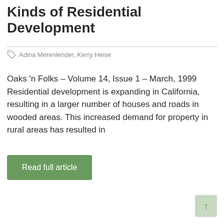Kinds of Residential Development
Adina Merenlender, Kerry Heise
Oaks 'n Folks – Volume 14, Issue 1 – March, 1999 Residential development is expanding in California, resulting in a larger number of houses and roads in wooded areas. This increased demand for property in rural areas has resulted in
Read full article